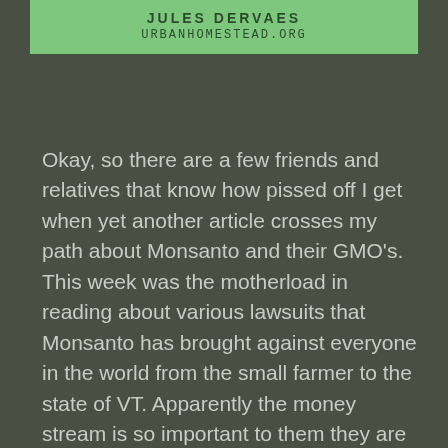JULES DERVAES
URBANHOMESTEAD.ORG
Okay, so there are a few friends and relatives that know how pissed off I get when yet another article crosses my path about Monsanto and their GMO's.  This week was the motherload in reading about various lawsuits that Monsanto has brought against everyone in the world from the small farmer to the state of VT.  Apparently the money stream is so important to them they are willing to take on any state in the union that would try to label food as containing GMO products.  Hmmmm, doesn't it make you wonder what they are trying to hide?  I believe in informed consent.